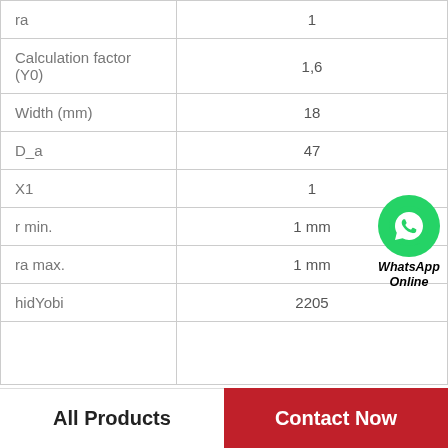| Parameter | Value |
| --- | --- |
| ra | 1 |
| Calculation factor (Y0) | 1,6 |
| Width (mm) | 18 |
| D_a | 47 |
| X1 | 1 |
| r min. | 1 mm |
| ra max. | 1 mm |
| hidYobi | 2205 |
|  |  |
WhatsApp Online
All Products | Contact Now